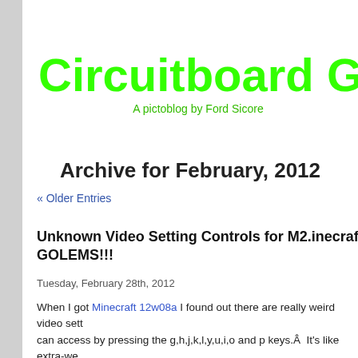Circuitboard G
A pictoblog by Ford Sicore
Archive for February, 2012
« Older Entries
Unknown Video Setting Controls for M2.inecraft 1.2 GOLEMS!!!
Tuesday, February 28th, 2012
When I got Minecraft 12w08a I found out there are really weird video settings you can access by pressing the g,h,j,k,l,y,u,i,o and p keys.Â  It's like extra-we (field of view) but I think it may be a bug.Â  Here's the link to the Mojang w